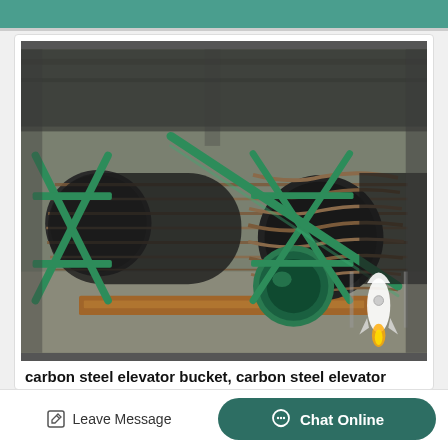[Figure (photo): Industrial factory floor showing large spiral screw conveyor components with dark metal helical flights mounted on green steel frames/supports, alongside a green painted pipe/tube section, in an industrial warehouse setting.]
carbon steel elevator bucket, carbon steel elevator
Leave Message
Chat Online